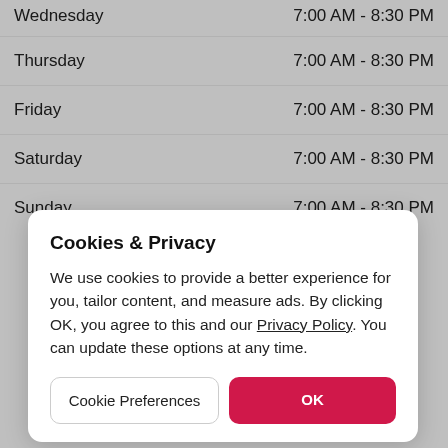| Day | Hours |
| --- | --- |
| Wednesday | 7:00 AM - 8:30 PM |
| Thursday | 7:00 AM - 8:30 PM |
| Friday | 7:00 AM - 8:30 PM |
| Saturday | 7:00 AM - 8:30 PM |
| Sunday | 7:00 AM - 8:30 PM |
Cookies & Privacy
We use cookies to provide a better experience for you, tailor content, and measure ads. By clicking OK, you agree to this and our Privacy Policy. You can update these options at any time.